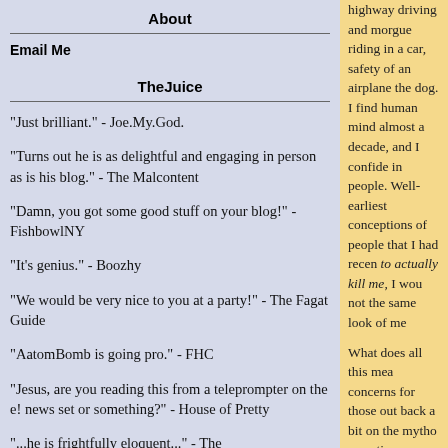About
Email Me
TheJuice
"Just brilliant." - Joe.My.God.
"Turns out he is as delightful and engaging in person as is his blog." - The Malcontent
"Damn, you got some good stuff on your blog!" - FishbowlNY
"It's genius." - Boozhy
"We would be very nice to you at a party!" - The Fagat Guide
"AatomBomb is going pro." - FHC
"Jesus, are you reading this from a teleprompter on the e! news set or something?" - House of Pretty
"...he is frightfully eloquent..." - The
highway driving and morgue riding in a car, safety of an airplane the dog. I find human mind almost a decade, and I confide in people. Well- earliest conceptions of people that I had recen to actually kill me, I wou not the same look of me
What does all this mea concerns for those out back a bit on the mytho sometimes.
Posted by Aatom in Homo
Comments
Well done.
Posted by: m